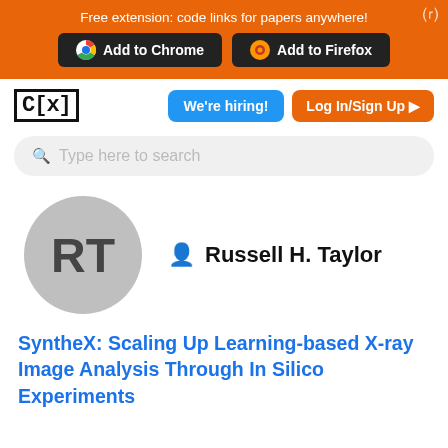Free extension: code links for papers anywhere!
Add to Chrome   Add to Firefox
[Figure (logo): C[x] logo]
We're hiring!
Log In/Sign Up
Type here to search
[Figure (illustration): User avatar circle with initials RT]
Russell H. Taylor
SyntheX: Scaling Up Learning-based X-ray Image Analysis Through In Silico Experiments